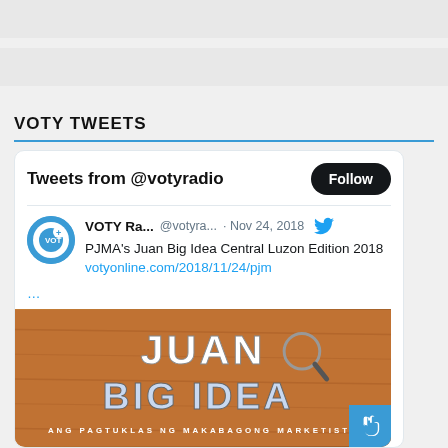VOTY TWEETS
[Figure (screenshot): Twitter widget showing tweets from @votyradio with a Follow button, a tweet from VOTY Ra... @votyra... on Nov 24, 2018 about PJMA's Juan Big Idea Central Luzon Edition 2018 with a link to votyonline.com/2018/11/24/pjm, and an image of the Juan Big Idea promotional banner with text 'JUAN BIG IDEA' and 'ANG PAGTUKLAS NG MAKABAGONG MARKETISTA']